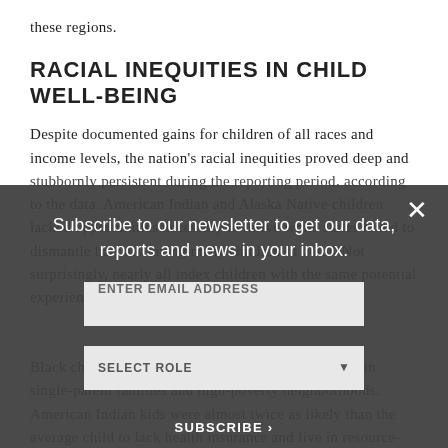these regions.
RACIAL INEQUITIES IN CHILD WELL-BEING
Despite documented gains for children of all races and income levels, the nation's racial inequities proved deep and stubbornly persistent during the reporting period, according to the data. American Indian and Alaska Native children lacked opportunities necessary to thrive while states failed to dismantle barriers facing many children of color. Not surprisingly, nearly all index children with the same potential experienced disparate outcomes.
Black children were significantly more likely to live in single-parent families and high-poverty neighborhoods. American Indian kids were almost twice as likely than the average child to lack health insurance and live in resource-